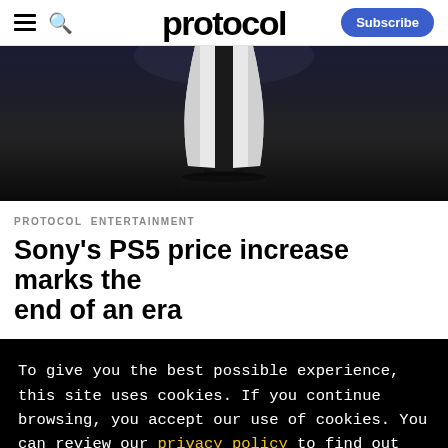protocol — Subscribe
[Figure (photo): PS5 gaming console standing upright on a dark reflective surface against a dark background, showing the white console with its distinctive vertical fins]
PROTOCOL ENTERTAINMENT
Sony's PS5 price increase marks the end of an era
To give you the best possible experience, this site uses cookies. If you continue browsing, you accept our use of cookies. You can review our privacy policy to find out more about the cookies we use.
Accept